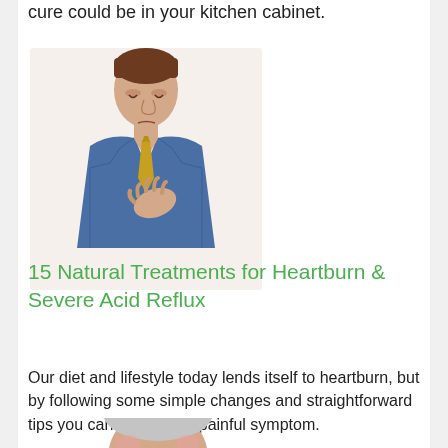cure could be in your kitchen cabinet.
[Figure (illustration): Watercolor illustration of a man in a blue shirt and yellow tie, hand on chest, appearing to experience heartburn or chest discomfort.]
15 Natural Treatments for Heartburn & Severe Acid Reflux
Our diet and lifestyle today lends itself to heartburn, but by following some simple changes and straightforward tips you can relieve this painful symptom.
[Figure (illustration): Partial illustration of a person visible at the bottom of the page.]